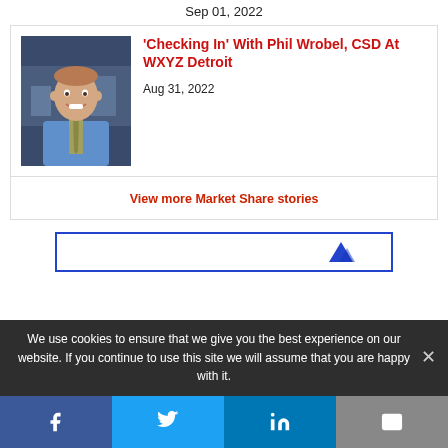Sep 01, 2022
[Figure (photo): Professional headshot of Phil Wrobel in blue shirt and tie, standing in a TV studio]
'Checking In' With Phil Wrobel, CSD At WXYZ Detroit
Aug 31, 2022
View more Market Share stories
[Figure (other): Advertisement box with blue border and partial logo visible]
We use cookies to ensure that we give you the best experience on our website. If you continue to use this site we will assume that you are happy with it.
[Figure (infographic): Social media share bar with Facebook, Twitter, LinkedIn, and Email buttons]